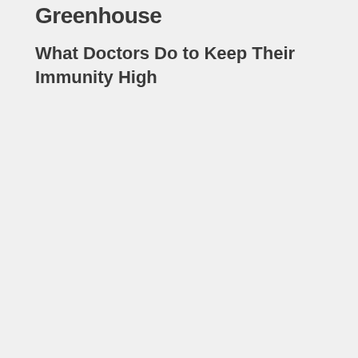Greenhouse
What Doctors Do to Keep Their Immunity High